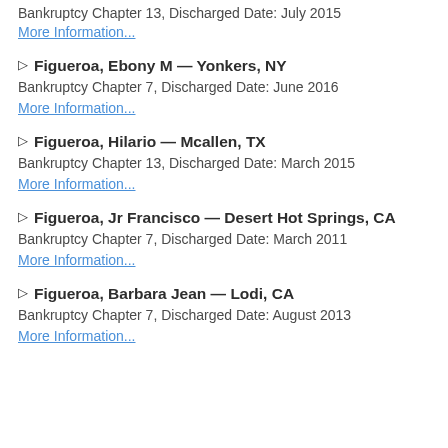Bankruptcy Chapter 13, Discharged Date: July 2015
More Information...
▷ Figueroa, Ebony M — Yonkers, NY
Bankruptcy Chapter 7, Discharged Date: June 2016
More Information...
▷ Figueroa, Hilario — Mcallen, TX
Bankruptcy Chapter 13, Discharged Date: March 2015
More Information...
▷ Figueroa, Jr Francisco — Desert Hot Springs, CA
Bankruptcy Chapter 7, Discharged Date: March 2011
More Information...
▷ Figueroa, Barbara Jean — Lodi, CA
Bankruptcy Chapter 7, Discharged Date: August 2013
More Information...